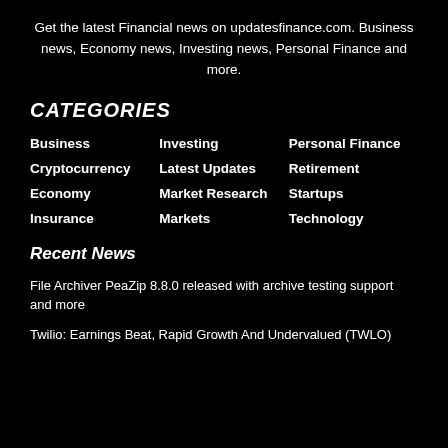Get the latest Financial news on updatesfinance.com. Business news, Economy news, Investing news, Personal Finance and more.
CATEGORIES
Business
Investing
Personal Finance
Cryptocurrency
Latest Updates
Retirement
Economy
Market Research
Startups
Insurance
Markets
Technology
Recent News
File Archiver PeaZip 8.8.0 released with archive testing support and more
Twilio: Earnings Beat, Rapid Growth And Undervalued (TWLO)